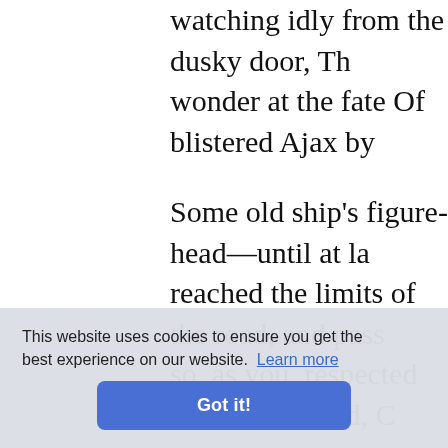watching idly from the dusky door, Th wonder at the fate Of blistered Ajax by
Some old ship's figure-head—until at la reached the limits of the road, and pass so, as you, respected Reader, showed, C
There by the cave the occupant she foun frisked out, although the Cyclops frown mound came running, too, the goat, Utte
The Child stood wondering at the silent plucking, for the goat began To crop th laughing, she Turned her ligh steps, ret
eager fee Of injure n the Cy
Thus grew acquaintanceship between day. The Child would bring her fou
This website uses cookies to ensure you get the best experience on our website. Learn more
Got it!